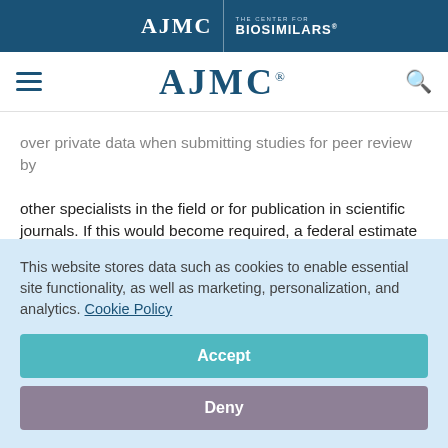AJMC | THE CENTER FOR BIOSIMILARS
[Figure (logo): AJMC logo with navigation hamburger menu and search icon]
over private data when submitting studies for peer review by other specialists in the field or for publication in scientific journals. If this would become required, a federal estimate details that the EPA would have to spend hundreds of millions of dollars to redact private information during public review.
This website stores data such as cookies to enable essential site functionality, as well as marketing, personalization, and analytics. Cookie Policy
Accept
Deny